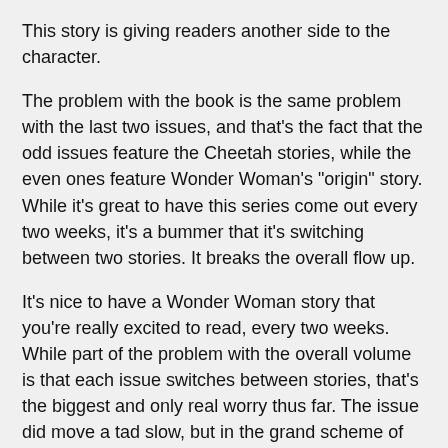This story is giving readers another side to the character.
The problem with the book is the same problem with the last two issues, and that's the fact that the odd issues feature the Cheetah stories, while the even ones feature Wonder Woman's "origin" story. While it's great to have this series come out every two weeks, it's a bummer that it's switching between two stories. It breaks the overall flow up.
It's nice to have a Wonder Woman story that you're really excited to read, every two weeks. While part of the problem with the overall volume is that each issue switches between stories, that's the biggest and only real worry thus far. The issue did move a tad slow, but in the grand scheme of things, the slower pacing lends itself to enhance the world and the story. It read great as a single issue and will read even better in trade. This is one of the Rebirth series you need to read.